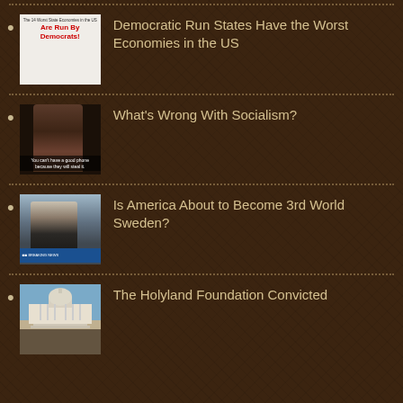Democratic Run States Have the Worst Economies in the US
What’s Wrong With Socialism?
Is America About to Become 3rd World Sweden?
The Holyland Foundation Convicted